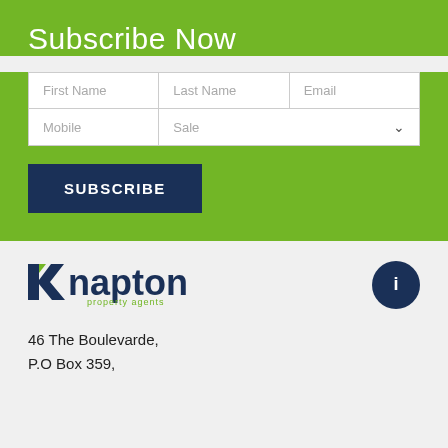Subscribe Now
[Figure (infographic): Subscription form with fields: First Name, Last Name, Email, Mobile, Sale dropdown, and a SUBSCRIBE button]
[Figure (logo): Knapton property agents logo with dark blue text and green accent]
46 The Boulevarde,
P.O Box 359,